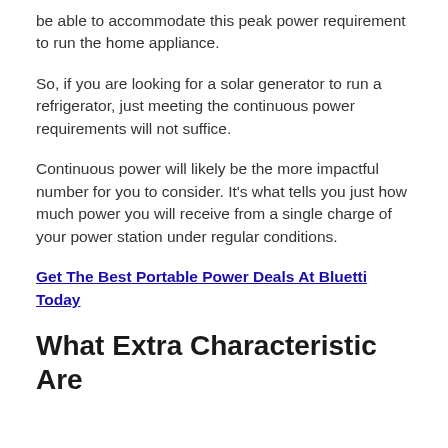be able to accommodate this peak power requirement to run the home appliance.
So, if you are looking for a solar generator to run a refrigerator, just meeting the continuous power requirements will not suffice.
Continuous power will likely be the more impactful number for you to consider. It's what tells you just how much power you will receive from a single charge of your power station under regular conditions.
Get The Best Portable Power Deals At Bluetti Today
What Extra Characteristic Are